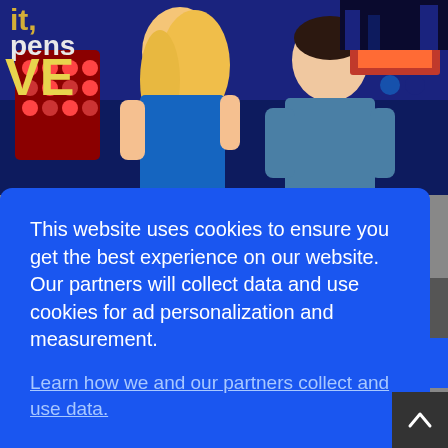[Figure (photo): Two people on a television talk show set with blue lighting. A blonde woman in a blue dress and a dark-haired man in a blue shirt are seated. Text 'LIVE' visible in background.]
This website uses cookies to ensure you get the best experience on our website. Our partners will collect data and use cookies for ad personalization and measurement.
Learn how we and our partners collect and use data.
OK
[Figure (photo): Partial view of another image to the right showing 'ns' text label]
[Figure (photo): Bottom strip showing another photo partially visible]
[Figure (other): Scroll to top button with upward arrow icon]